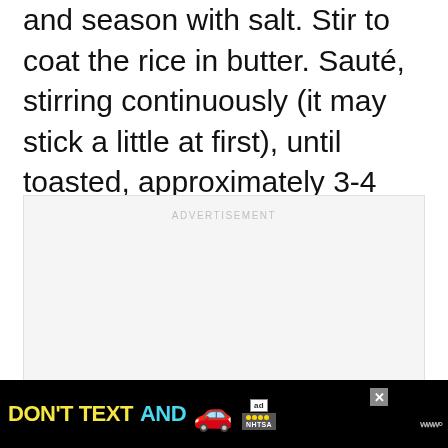and season with salt. Stir to coat the rice in butter. Sauté, stirring continuously (it may stick a little at first), until toasted, approximately 3-4 minutes.
[Figure (other): Advertisement placeholder box with 'ADVERTISEMENT' label in light gray text on a light gray background]
[Figure (other): Banner advertisement: 'DON'T TEXT AND [car emoji]' with NHTSA logo, ad badge, close button, and Whisk logo on dark background]